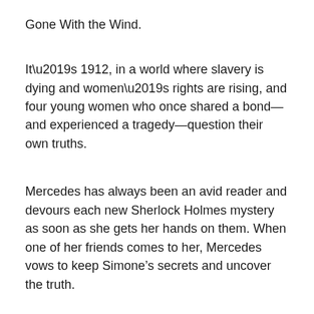Gone With the Wind.
It’s 1912, in a world where slavery is dying and women’s rights are rising, and four young women who once shared a bond—and experienced a tragedy—question their own truths.
Mercedes has always been an avid reader and devours each new Sherlock Holmes mystery as soon as she gets her hands on them. When one of her friends comes to her, Mercedes vows to keep Simone’s secrets and uncover the truth.